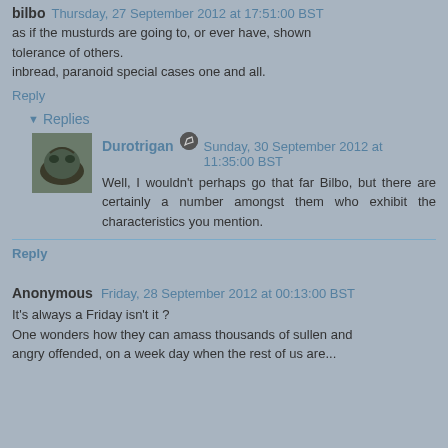bilbo  Thursday, 27 September 2012 at 17:51:00 BST
as if the musturds are going to, or ever have, shown tolerance of others.
inbread, paranoid special cases one and all.
Reply
▾ Replies
Durotrigan  Sunday, 30 September 2012 at 11:35:00 BST
Well, I wouldn't perhaps go that far Bilbo, but there are certainly a number amongst them who exhibit the characteristics you mention.
Reply
Anonymous  Friday, 28 September 2012 at 00:13:00 BST
It's always a Friday isn't it ?
One wonders how they can amass thousands of sullen and angry offended, on a week day when the rest of us are...